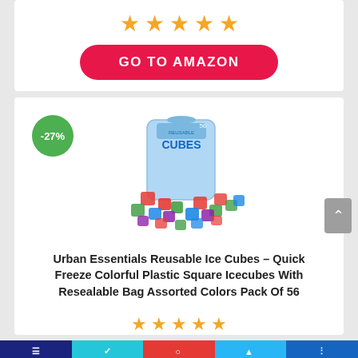[Figure (other): 5 orange star rating icons in a row]
GO TO AMAZON
[Figure (photo): Product photo: a resealable bag labeled 'CUBES' filled with colorful plastic reusable ice cubes in red, green, blue, purple colors spilling out]
-27%
Urban Essentials Reusable Ice Cubes – Quick Freeze Colorful Plastic Square Icecubes With Resealable Bag Assorted Colors Pack Of 56
[Figure (other): 4 orange star rating icons partially visible at the bottom]